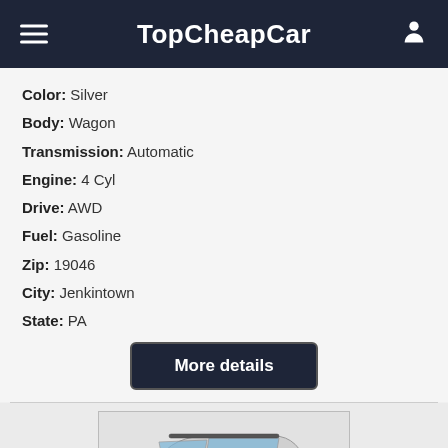TopCheapCar
Color: Silver
Body: Wagon
Transmission: Automatic
Engine: 4 Cyl
Drive: AWD
Fuel: Gasoline
Zip: 19046
City: Jenkintown
State: PA
More details
[Figure (photo): Silver wagon car (SUV/station wagon) viewed from rear three-quarter angle]